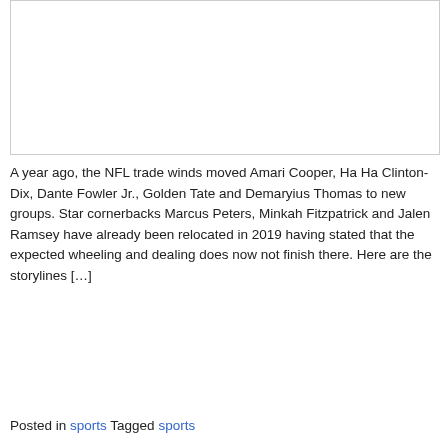[Figure (other): Empty white image placeholder box with a thin border]
A year ago, the NFL trade winds moved Amari Cooper, Ha Ha Clinton-Dix, Dante Fowler Jr., Golden Tate and Demaryius Thomas to new groups. Star cornerbacks Marcus Peters, Minkah Fitzpatrick and Jalen Ramsey have already been relocated in 2019 having stated that the expected wheeling and dealing does now not finish there. Here are the storylines […]
Posted in sports Tagged sports